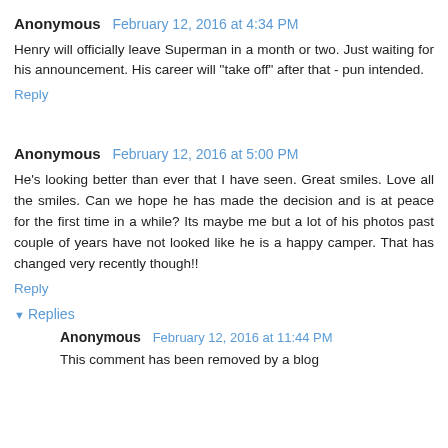Anonymous  February 12, 2016 at 4:34 PM
Henry will officially leave Superman in a month or two. Just waiting for his announcement. His career will "take off" after that - pun intended.
Reply
Anonymous  February 12, 2016 at 5:00 PM
He's looking better than ever that I have seen. Great smiles. Love all the smiles. Can we hope he has made the decision and is at peace for the first time in a while? Its maybe me but a lot of his photos past couple of years have not looked like he is a happy camper. That has changed very recently though!!
Reply
Replies
Anonymous  February 12, 2016 at 11:44 PM
This comment has been removed by a blog